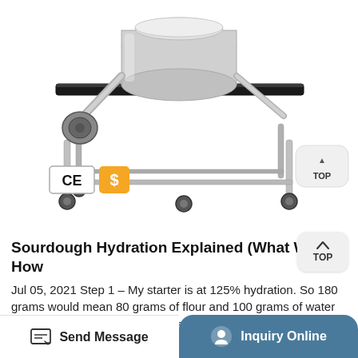[Figure (photo): Industrial stainless steel mixing/processing machine on a wheeled frame, with CE certification badge and a dollar/supplier badge below the image]
Sourdough Hydration Explained (What Wh How
Jul 05, 2021 Step 1 – My starter is at 125% hydration. So 180 grams would mean 80 grams of flour and 100 grams of water (because 80 x 1.25 = 100 grams; see above section for calculations) Step 2 – The recipe contains 600 grams flour and 360
Send Message  |  Inquiry Online